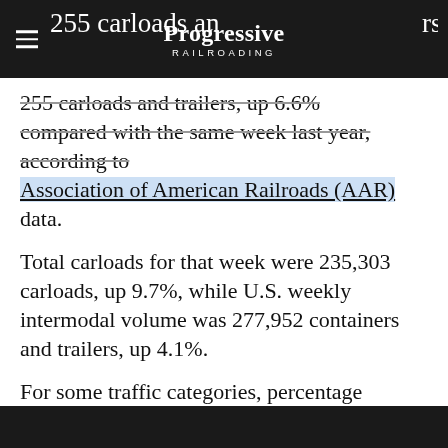Progressive Railroading
255 carloads and trailers, up 6.6% compared with the same week last year, according to Association of American Railroads (AAR) data.
Total carloads for that week were 235,303 carloads, up 9.7%, while U.S. weekly intermodal volume was 277,952 containers and trailers, up 4.1%.
For some traffic categories, percentage changes for the week were inflated because of the widespread shutdowns — and subsequent large reduction in rail volumes — that impacted many economic sectors last year at this time, AAR officials said in a report.